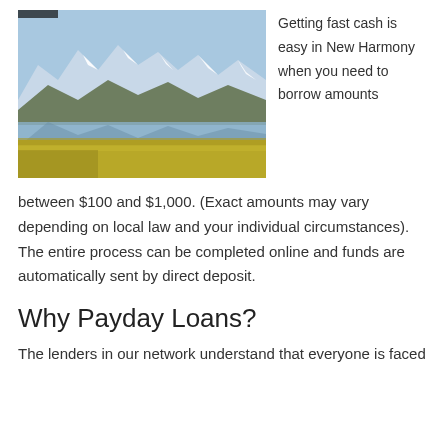[Figure (photo): Mountain landscape with snow-capped peaks, a reflective lake, and golden grassy foreground]
Getting fast cash is easy in New Harmony when you need to borrow amounts between $100 and $1,000. (Exact amounts may vary depending on local law and your individual circumstances). The entire process can be completed online and funds are automatically sent by direct deposit.
Why Payday Loans?
The lenders in our network understand that everyone is faced